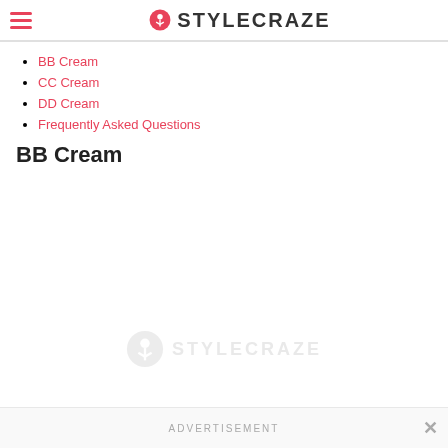STYLECRAZE
BB Cream
CC Cream
DD Cream
Frequently Asked Questions
BB Cream
[Figure (logo): StyleCraze watermark logo in light gray]
ADVERTISEMENT